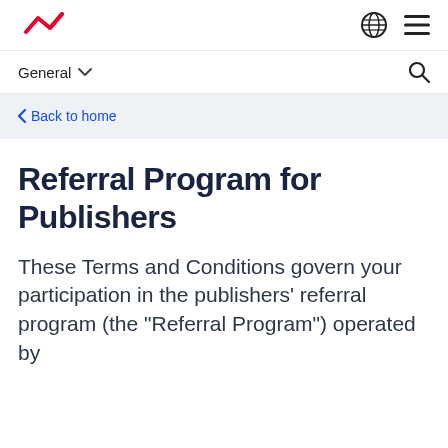[Logo] [Globe icon] [Menu icon]
General ∨  [Search icon]
< Back to home
Referral Program for Publishers
These Terms and Conditions govern your participation in the publishers' referral program (the "Referral Program") operated by